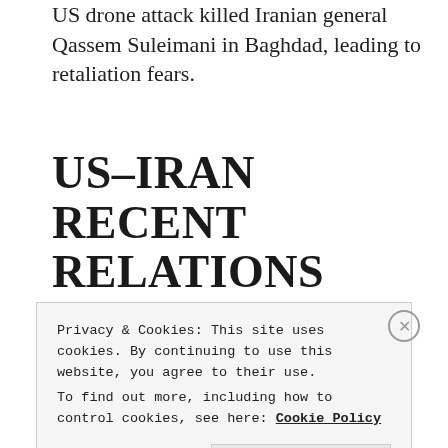US drone attack killed Iranian general Qassem Suleimani in Baghdad, leading to retaliation fears.
US–IRAN RECENT RELATIONS AT A GLANCE
[Figure (infographic): Timeline pin icon (filled circle with vertical line below) next to partially visible text reading 'World powers sign the Iran...']
Privacy & Cookies: This site uses cookies. By continuing to use this website, you agree to their use.
To find out more, including how to control cookies, see here: Cookie Policy
Close and accept